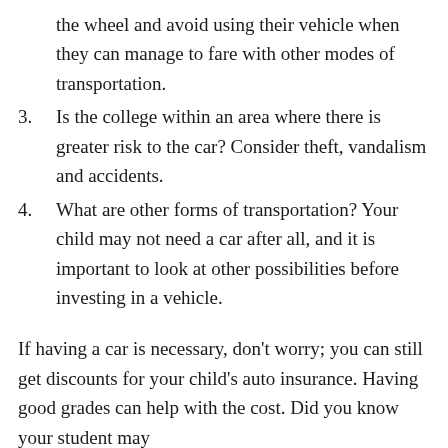the wheel and avoid using their vehicle when they can manage to fare with other modes of transportation.
3. Is the college within an area where there is greater risk to the car? Consider theft, vandalism and accidents.
4. What are other forms of transportation? Your child may not need a car after all, and it is important to look at other possibilities before investing in a vehicle.
If having a car is necessary, don’t worry; you can still get discounts for your child’s auto insurance. Having good grades can help with the cost. Did you know your student may